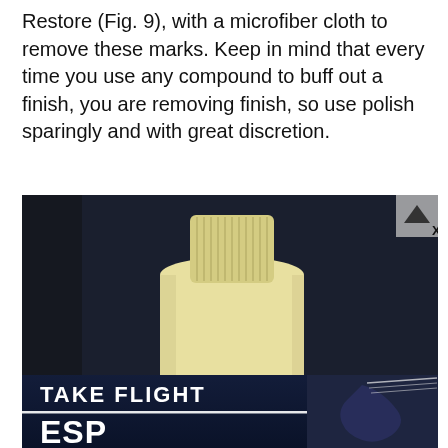Restore (Fig. 9), with a microfiber cloth to remove these marks. Keep in mind that every time you use any compound to buff out a finish, you are removing finish, so use polish sparingly and with great discretion.
[Figure (photo): A cream/yellow colored polish or compound bottle with a ribbed cap, photographed against a dark background. An advertisement overlay at the bottom shows 'TAKE FLIGHT' and 'ESP' guitar brand logo with an electric guitar image. A close button (X) appears in the upper right of the ad.]